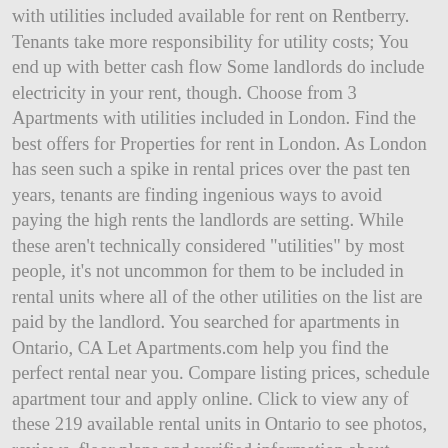with utilities included available for rent on Rentberry. Tenants take more responsibility for utility costs; You end up with better cash flow Some landlords do include electricity in your rent, though. Choose from 3 Apartments with utilities included in London. Find the best offers for Properties for rent in London. As London has seen such a spike in rental prices over the past ten years, tenants are finding ingenious ways to avoid paying the high rents the landlords are setting. While these aren't technically considered "utilities" by most people, it's not uncommon for them to be included in rental units where all of the other utilities on the list are paid by the landlord. You searched for apartments in Ontario, CA Let Apartments.com help you find the perfect rental near you. Compare listing prices, schedule apartment tour and apply online. Click to view any of these 219 available rental units in Ontario to see photos, reviews, floor plans and verified information about schools, neighborhoods, unit availability and more. Looking for an apartment where utilities are included in your rent? London, UK 4 bed apartments with utilities included available for rent on Rentberry. Rent studio flats in central London, we have a selection of modern, fully furnished apartments close to public transport and local amenities. Also find cheap London Apartments, pet friendly Apartments. Apartments with utilities included and more. Find williamsport properties for rent at the best